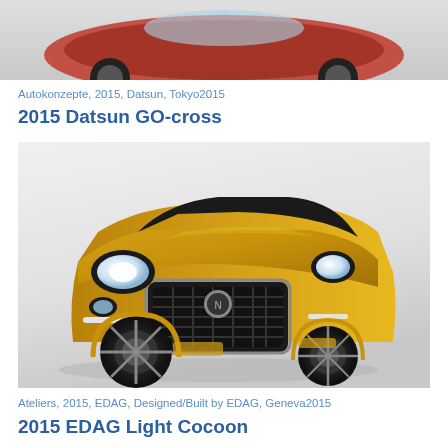[Figure (photo): Partial top view of a car on white/grey background - cropped at top of page]
Autokonzepte, 2015, Datsun, Tokyo2015
2015 Datsun GO-cross
[Figure (photo): Gold/yellow Datsun GO-cross concept car SUV on grey background, front three-quarter view showing Nissan badge on grille]
Ateliers, 2015, EDAG, Designed/Built by EDAG, Geneva2015
2015 EDAG Light Cocoon